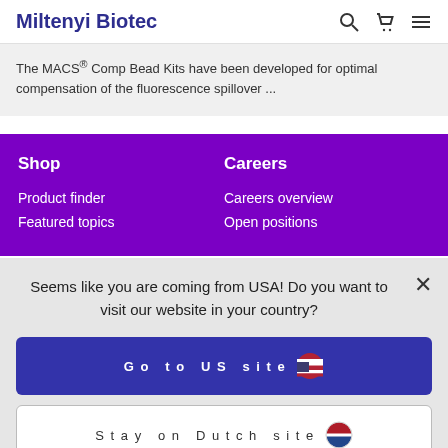Miltenyi Biotec
The MACS® Comp Bead Kits have been developed for optimal compensation of the fluorescence spillover ...
Shop
Product finder
Featured topics
Careers
Careers overview
Open positions
Seems like you are coming from USA! Do you want to visit our website in your country?
Go to US site
Stay on Dutch site